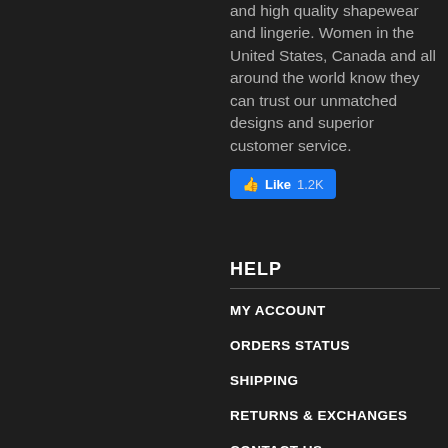and high quality shapewear and lingerie. Women in the United States, Canada and all around the world know they can trust our unmatched designs and superior customer service.
[Figure (other): Facebook Like button showing 1.2K likes]
HELP
MY ACCOUNT
ORDERS STATUS
SHIPPING
RETURNS & EXCHANGES
CONTACT US